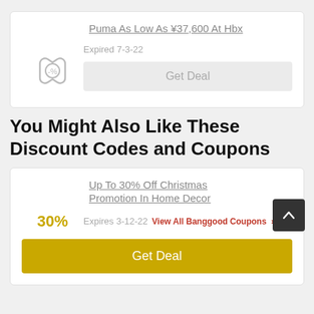Puma As Low As ¥37,600 At Hbx
Expired 7-3-22
Get Deal
You Might Also Like These Discount Codes and Coupons
Up To 30% Off Christmas Promotion In Home Decor
Expires 3-12-22  View All Banggood Coupons >
Get Deal